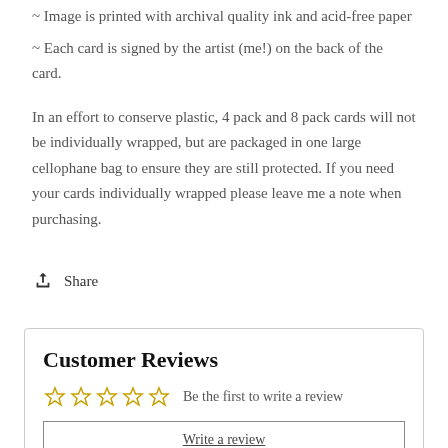~ Image is printed with archival quality ink and acid-free paper
~ Each card is signed by the artist (me!) on the back of the card.
In an effort to conserve plastic, 4 pack and 8 pack cards will not be individually wrapped, but are packaged in one large cellophane bag to ensure they are still protected. If you need your cards individually wrapped please leave me a note when purchasing.
Share
Customer Reviews
Be the first to write a review
Write a review